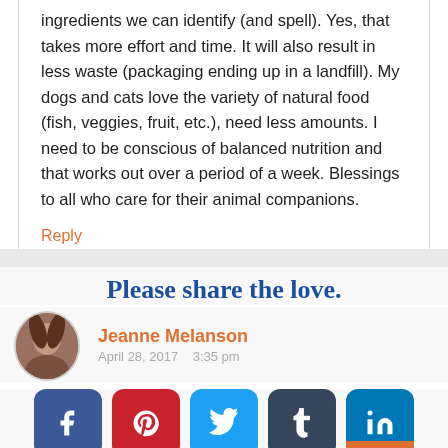ingredients we can identify (and spell). Yes, that takes more effort and time. It will also result in less waste (packaging ending up in a landfill). My dogs and cats love the variety of natural food (fish, veggies, fruit, etc.), need less amounts. I need to be conscious of balanced nutrition and that works out over a period of a week. Blessings to all who care for their animal companions.
Reply
Please share the love.
Jeanne Melanson
April 28, 2017 3:35 pm
[Figure (other): Social sharing buttons: Facebook (blue), Pinterest (red), Twitter (cyan), Tumblr (dark blue), LinkedIn (blue), with share count 0]
0
Hey Judy, Welcome to Animal Bliss. Yes,